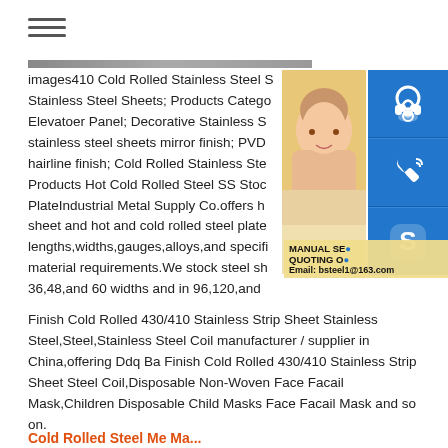[Figure (other): Hamburger menu icon (three horizontal lines)]
[Figure (photo): Photo of a woman wearing a headset, partially visible, with blue icon buttons (headset, phone, Skype) overlaid on the right side and an overlay bar with text MANUAL SE... QUOTING O... Email: bsteel1@163.com]
images410 Cold Rolled Stainless Steel S Stainless Steel Sheets; Products Catego Elevatoer Panel; Decorative Stainless S stainless steel sheets mirror finish; PVD hairline finish; Cold Rolled Stainless Ste Products Hot Cold Rolled Steel SS Stoc PlateIndustrial Metal Supply Co.offers h sheet and hot and cold rolled steel plate lengths,widths,gauges,alloys,and specifi material requirements.We stock steel sh 36,48,and 60 widths and in 96,120,and Finish Cold Rolled 430/410 Stainless Strip Sheet Stainless Steel,Steel,Stainless Steel Coil manufacturer / supplier in China,offering Ddq Ba Finish Cold Rolled 430/410 Stainless Strip Sheet Steel Coil,Disposable Non-Woven Face Facail Mask,Children Disposable Child Masks Face Facail Mask and so on.
Cold Rolled Steel Me Ma...